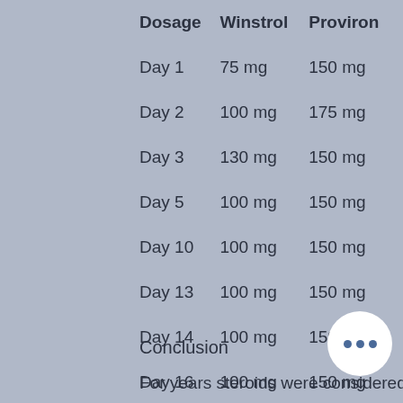| Dosage | Winstrol | Proviron |
| --- | --- | --- |
| Day 1 | 75 mg | 150 mg |
| Day 2 | 100 mg | 175 mg |
| Day 3 | 130 mg | 150 mg |
| Day 5 | 100 mg | 150 mg |
| Day 10 | 100 mg | 150 mg |
| Day 13 | 100 mg | 150 mg |
| Day 14 | 100 mg | 150 mg |
| Day 16 | 100 mg | 150 mg |
Conclusion
For years steroids were considered the